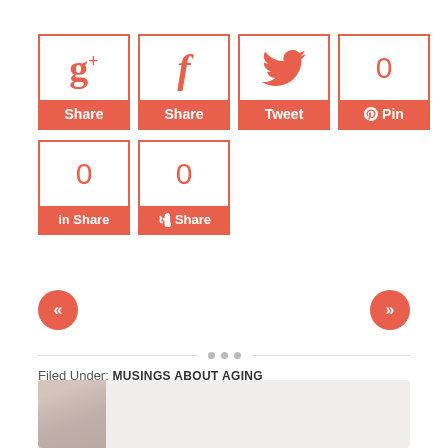[Figure (infographic): Social sharing buttons row 1: Google+ Share, Facebook Share, Twitter Tweet, Pinterest Pin (with count 0). Row 2: LinkedIn Share (count 0), StumbleUpon Share (count 0).]
[Figure (infographic): Navigation arrows: left double-chevron (previous) and right double-chevron (next) as red circles.]
Filed Under: MUSINGS ABOUT AGING
Tagged With: AGING, CAMPING AT 80, TURNING 80
[Figure (photo): Author photo thumbnail — partial view of a person at bottom of page.]